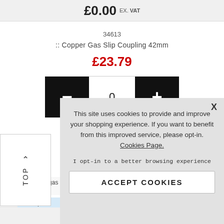£0.00 Ex. VAT
34613
:: Copper Gas Slip Coupling 42mm
£23.79
0
£0.00 Ex. VAT
34614
^ TOP
ess copper gas is used for a variety of...
Map
This site uses cookies to provide and improve your shopping experience. If you want to benefit from this improved service, please opt-in. Cookies Page.
I opt-in to a better browsing experience
ACCEPT COOKIES